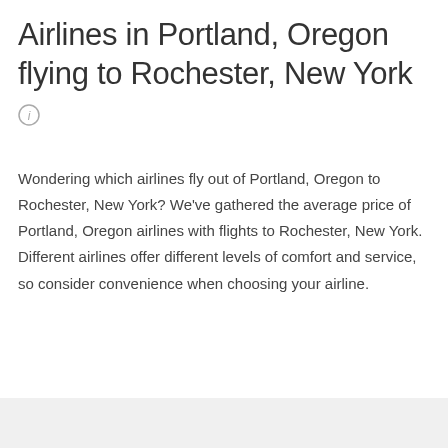Airlines in Portland, Oregon flying to Rochester, New York
[Figure (other): Information icon — a small circular grey icon with the letter i]
Wondering which airlines fly out of Portland, Oregon to Rochester, New York? We've gathered the average price of Portland, Oregon airlines with flights to Rochester, New York. Different airlines offer different levels of comfort and service, so consider convenience when choosing your airline.